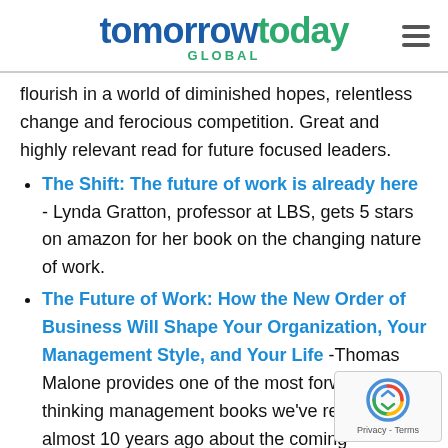tomorrowtoday GLOBAL
flourish in a world of diminished hopes, relentless change and ferocious competition. Great and highly relevant read for future focused leaders.
The Shift: The future of work is already here - Lynda Gratton, professor at LBS, gets 5 stars on amazon for her book on the changing nature of work.
The Future of Work: How the New Order of Business Will Shape Your Organization, Your Management Style, and Your Life -Thomas Malone provides one of the most forward thinking management books we've read. Writ almost 10 years ago about the coming management revolution, it is amazing how ma...